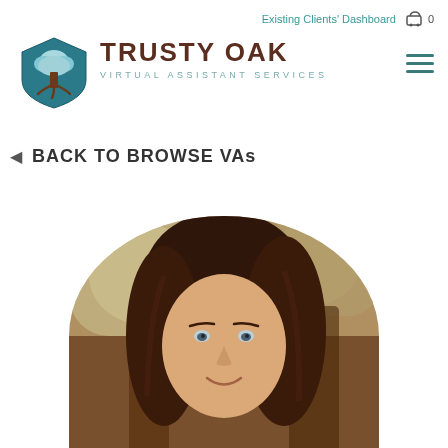Existing Clients' Dashboard  0
[Figure (logo): Trusty Oak Virtual Assistant Services logo with shield icon containing a tree, teal and brown colors]
TRUSTY OAK VIRTUAL ASSISTANT SERVICES
◄ BACK TO BROWSE VAs
[Figure (photo): Circular cropped headshot photo of a woman with brown hair, smiling, in an indoor setting with blurred background]